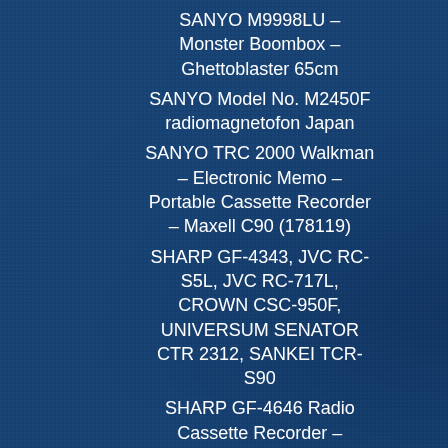SANYO M9998LU – Monster Boombox – Ghettoblaster 65cm
SANYO Model No. M2450F radiomagnetofon Japan
SANYO TRC 2000 Walkman – Electronic Memo – Portable Cassette Recorder – Maxell C90 (178119)
SHARP GF-4343, JVC RC-S5L, JVC RC-717L, CROWN CSC-950F, UNIVERSUM SENATOR CTR 2312, SANKEI TCR-S90
SHARP GF-4646 Radio Cassette Recorder – Radiomagnetofon OIRT (177384)
SHARP GF-500 (No.4253)
SHARP GF-5757 (No. 176588) SHARP GF-4500 (No. 176589) radio cassette recorder radiomagnetofon
SHARP GF-7500 (No.4254)